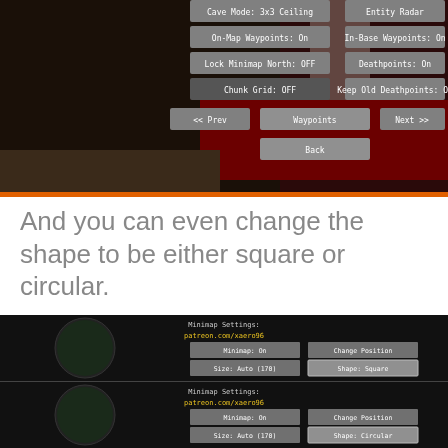[Figure (screenshot): Minecraft Minimap Settings menu screenshot showing game UI with options including Cave Mode 3x3 Ceiling, Entity Radar, On Map Waypoints, In-Base Waypoints, Lock Minimap North, Deathpoints, Chunk Grid, Keep Old Deathpoints, navigation buttons Prev/Waypoints/Next and Back]
And you can even change the shape to be either square or circular.
[Figure (screenshot): Minimap Settings screenshot showing Shape: Square option highlighted, with patreon.com/xaero96 link, options: Minimap On, Change Position, Size Auto (170), Shape: Square, Cave Mode 3x3 Ceiling, Entity Radar, On-Map Waypoints, In-Base Waypoints, Lock Minimap North, Deathpoints]
[Figure (screenshot): Minimap Settings screenshot showing Shape: Circular option highlighted, with patreon.com/xaero96 link, options: Minimap On, Change Position, Size Auto (170), Shape: Circular, Cave Mode 3x3 Ceiling, Entity Radar, On-Map Waypoints, In-Base Waypoints]